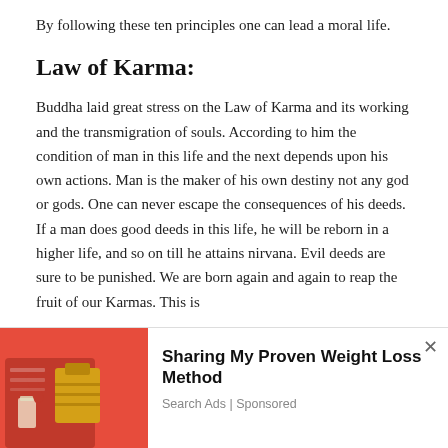By following these ten principles one can lead a moral life.
Law of Karma:
Buddha laid great stress on the Law of Karma and its working and the transmigration of souls. According to him the condition of man in this life and the next depends upon his own actions. Man is the maker of his own destiny not any god or gods. One can never escape the consequences of his deeds. If a man does good deeds in this life, he will be reborn in a higher life, and so on till he attains nirvana. Evil deeds are sure to be punished. We are born again and again to reap the fruit of our Karmas. This is
We use cookies on our website to give you the most relevant experience by remembering your preferences and repeat visits. By clicking “Accept”, you consent to the use of ALL the cookies.
Do not sell my personal information.
[Figure (photo): Person in red clothing pouring a drink, shopping bags visible]
Sharing My Proven Weight Loss Method
Search Ads | Sponsored